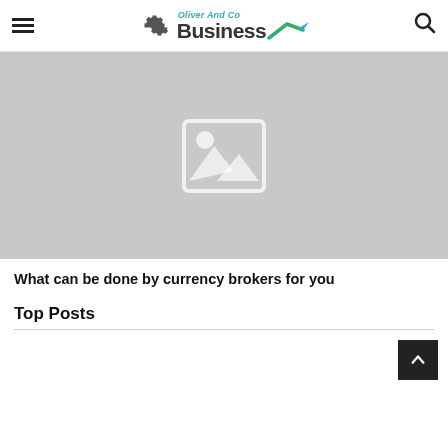Oliver And Co Business [logo with gear icon and arrow]
[Figure (photo): Placeholder image with image icon (mountain and sun) on grey background]
What can be done by currency brokers for you
Top Posts